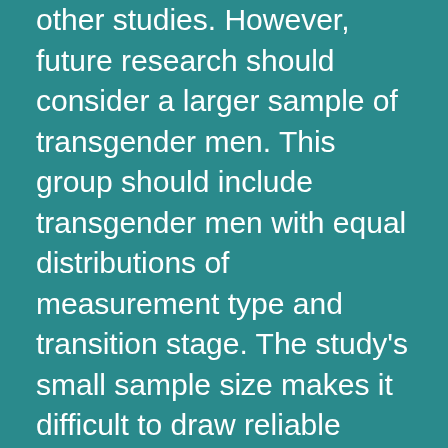other studies. However, future research should consider a larger sample of transgender men. This group should include transgender men with equal distributions of measurement type and transition stage. The study's small sample size makes it difficult to draw reliable conclusions.
As far as physical appearance is concerned, some trans men opt to pack their chests to achieve the illusion of masculinity. While packing is not universal, there are many alternatives. Some trans men use rolled-up socks while others use special packs made